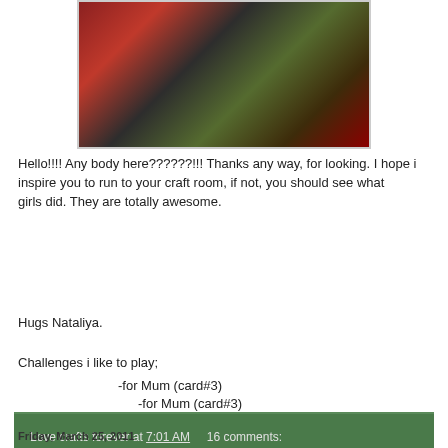[Figure (photo): Partial view of a handmade card with red floral embellishments and dark patterned background on green card stock]
Hello!!!! Any body here??????!!! Thanks any way, for looking. I hope i inspire you to run to your craft room, if not, you should see what girls did. They are totally awesome.
Hugs Nataliya.
Challenges i like to play;
-for Mum (card#3)
-for Mum (card#3)
Love crafts forever at 7:01 AM    16 comments:
Friday, March 25, 2011